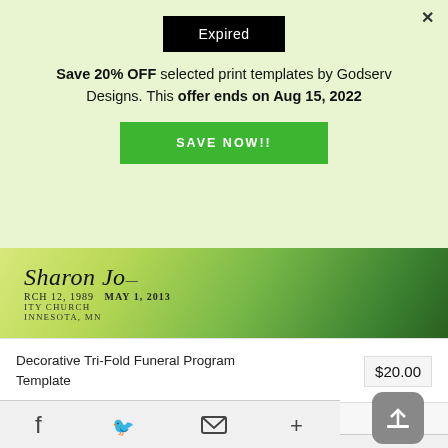[Figure (screenshot): Black 'Expired' badge/label on green background]
Save 20% OFF selected print templates by Godserv Designs. This offer ends on Aug 15, 2022
SAVE NOW!!
[Figure (photo): Decorative Tri-Fold Funeral Program Template product image showing a program with 'Sharon' name in cursive, dates March 12, 1989 - May 1, 2013, Unity Church, Minnesota, MN]
Decorative Tri-Fold Funeral Program Template
$20.00
BY: GODSERV DESIGNS, INC.
[Figure (screenshot): Social bar with Facebook, Twitter, email/envelope, and plus icons at bottom; upload/share button icon on right]
✕